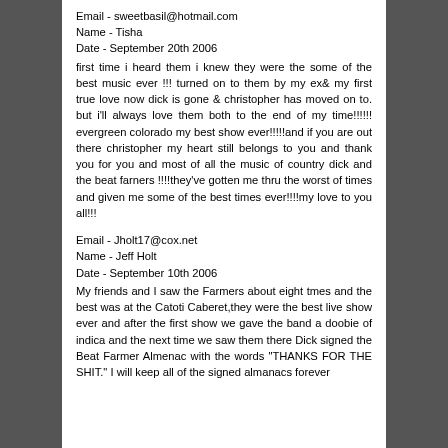Email - sweetbasil@hotmail.com
Name - Tisha
Date - September 20th 2006
first time i heard them i knew they were the some of the best music ever !!! turned on to them by my ex& my first true love now dick is gone & christopher has moved on to. but i'll always love them both to the end of my time!!!!!! evergreen colorado my best show ever!!!!!and if you are out there christopher my heart still belongs to you and thank you for you and most of all the music of country dick and the beat farners !!!!they've gotten me thru the worst of times and given me some of the best times ever!!!!my love to you all!!!
Email - Jholt17@cox.net
Name - Jeff Holt
Date - September 10th 2006
My friends and I saw the Farmers about eight tmes and the best was at the Catoti Caberet,they were the best live show ever and after the first show we gave the band a doobie of indica and the next time we saw them there Dick signed the Beat Farmer Almenac with the words "THANKS FOR THE SHIT." I will keep all of the signed almanacs forever